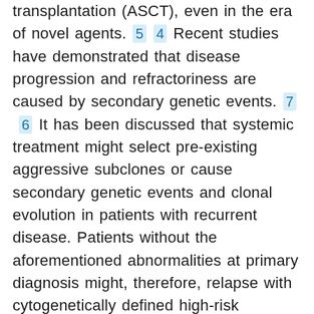transplantation (ASCT), even in the era of novel agents. 5 4 Recent studies have demonstrated that disease progression and refractoriness are caused by secondary genetic events. 7 6 It has been discussed that systemic treatment might select pre-existing aggressive subclones or cause secondary genetic events and clonal evolution in patients with recurrent disease. Patients without the aforementioned abnormalities at primary diagnosis might, therefore, relapse with cytogenetically defined high-risk disease. However, there are only limited longitudinal data available elucidating cytogenetic changes in relapsed MM after primary therapy. 8 6 We therefore performed a retrospective analysis of patients treated with upfront ASCT with an interphase fluorescence in situ hybridization (FISH) analysis of purified plasma cells at primary diagnosis and relapse. We tried to characterize cytogenetic evolution and studied which